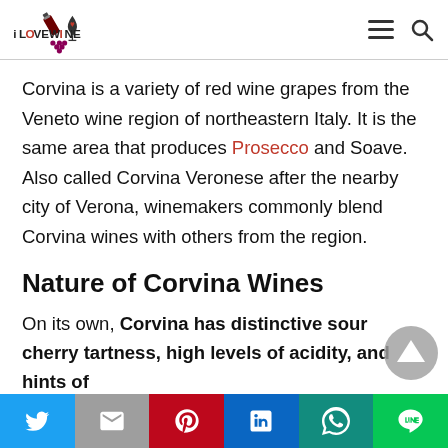iLOVEWINE logo with search and menu icons
Corvina is a variety of red wine grapes from the Veneto wine region of northeastern Italy. It is the same area that produces Prosecco and Soave. Also called Corvina Veronese after the nearby city of Verona, winemakers commonly blend Corvina wines with others from the region.
Nature of Corvina Wines
On its own, Corvina has distinctive sour cherry tartness, high levels of acidity, and hints of